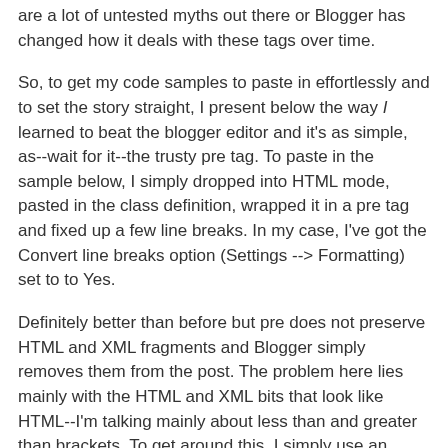are a lot of untested myths out there or Blogger has changed how it deals with these tags over time.
So, to get my code samples to paste in effortlessly and to set the story straight, I present below the way I learned to beat the blogger editor and it's as simple, as--wait for it--the trusty pre tag. To paste in the sample below, I simply dropped into HTML mode, pasted in the class definition, wrapped it in a pre tag and fixed up a few line breaks. In my case, I've got the Convert line breaks option (Settings --> Formatting) set to to Yes.
Definitely better than before but pre does not preserve HTML and XML fragments and Blogger simply removes them from the post. The problem here lies mainly with the HTML and XML bits that look like HTML--I'm talking mainly about less than and greater than brackets. To get around this, I simply use an HTML encoder to drop in my markup, encode it, and then copy the output into Blogger. It's a pain but what can you do...
class Base
{